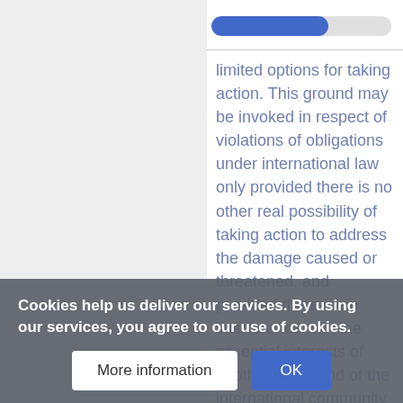[Figure (other): Progress bar showing reading progress, approximately 65% filled in blue]
limited options for taking action. This ground may be invoked in respect of violations of obligations under international law only provided there is no other real possibility of taking action to address the damage caused or threatened, and provided there is no interference with the essential interests of another State and of the international community as a
Cookies help us deliver our services. By using our services, you agree to our use of cookies.
More information | OK